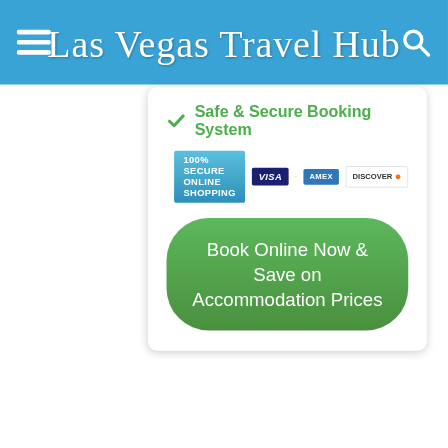Las Vegas Travel Hub
[Figure (screenshot): Safe & Secure Booking System panel with green checkmark, 100% Secure Online Shopping badge with payment card logos (Visa, Mastercard, Amex, Discover), and a green Book Online Now & Save on Accommodation Prices button]
Book Online Now & Save on Accommodation Prices